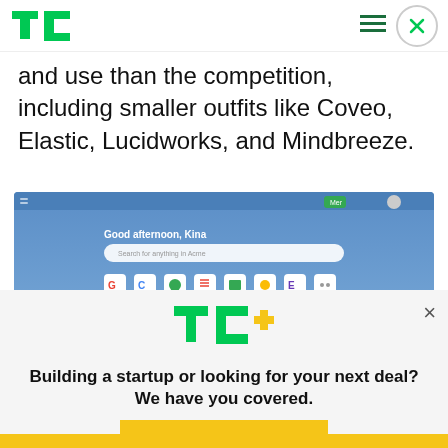TechCrunch logo, hamburger menu, close button
and use than the competition, including smaller outfits like Coveo, Elastic, Lucidworks, and Mindbreeze.
[Figure (screenshot): Screenshot of Google Workspace dashboard showing 'Good afternoon, Kina' with a search bar and app icons including Gmail, Calendar, Keep, Drive, Photos, Sheets, Elements, and more. A Todo panel is visible on the right.]
[Figure (logo): TC+ logo in green and yellow]
Building a startup or looking for your next deal? We have you covered.
EXPLORE NOW